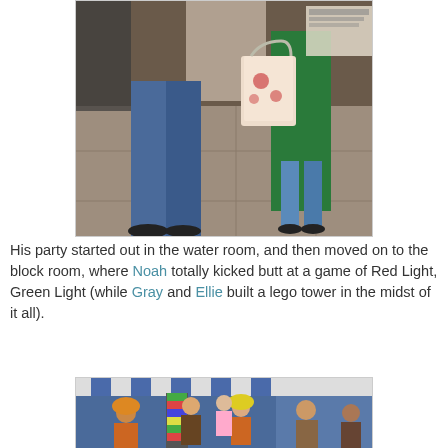[Figure (photo): Photo of people standing on a tiled floor, showing legs/lower bodies of adults and a child in a green costume holding a bag, taken indoors near a door.]
His party started out in the water room, and then moved on to the block room, where Noah totally kicked butt at a game of Red Light, Green Light (while Gray and Ellie built a lego tower in the midst of it all).
[Figure (photo): Photo of children playing in a room with blue walls and striped awning decoration, with a tall colorful lego tower visible, children wearing construction hats and costumes.]